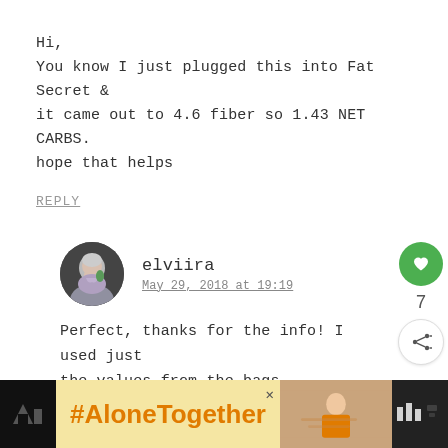Hi,
You know I just plugged this into Fat Secret & it came out to 4.6 fiber so 1.43 NET CARBS. hope that helps
REPLY
elviira
May 29, 2018 at 19:19
Perfect, thanks for the info! I used just the values from the bags.
[Figure (infographic): #AloneTogether advertisement banner at bottom of page]